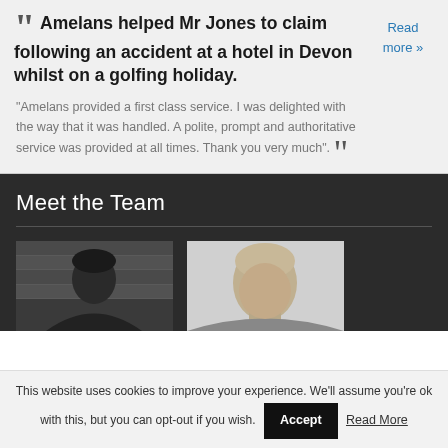Amelans helped Mr Jones to claim following an accident at a hotel in Devon whilst on a golfing holiday.
"Amelans provided a first class service. I was delighted with the way that it was handled. A polite, prompt and authoritative service was provided at all times. Thank you very much".
Read more »
Meet the Team
[Figure (photo): Grayscale photo of a person (dark background, woman)]
[Figure (photo): Grayscale photo of a person (light background, man)]
This website uses cookies to improve your experience. We'll assume you're ok with this, but you can opt-out if you wish. Accept Read More